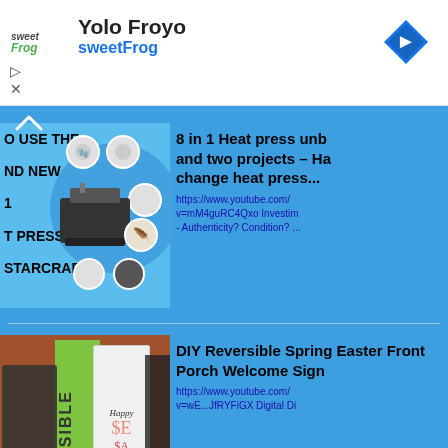[Figure (screenshot): sweetFrog ad banner with logo, 'Yolo Froyo' title, 'sweetFrog' subtitle in blue, navigation arrow icon, play button and X controls]
[Figure (screenshot): YouTube search results on blue background. First result: thumbnail of '8 in 1 Heat press unboxing - how to use the brand new heat press with Starcraft' with circular attachment icons, heat press machine image. Second result: thumbnail of DIY Reversible Spring Easter Front Porch Welcome Sign with two women holding signs.]
8 in 1 Heat press unb and two projects – Ha change heat press...
https://www.youtube.com/ v=mM4guRC4Qxo Investim - Authenticity? Condition? ...
DIY Reversible Spring Easter Front Porch Welcome Sign
https://www.youtube.com/ v=wE...JfRYFiGX Digital Di